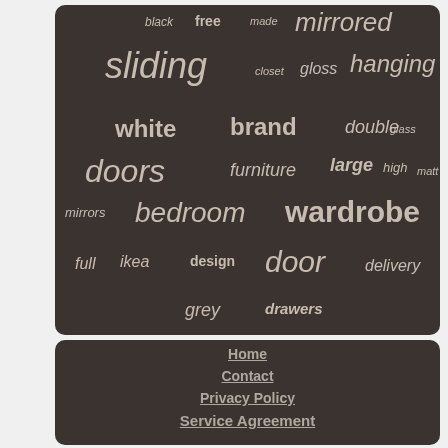[Figure (infographic): Word cloud on dark brown rounded rectangle background with furniture/wardrobe related keywords in varying sizes. Words include: black, free, made, mirrored, sliding, closet, gloss, hanging, white, brand, double, glass, doors, furniture, large, high, matt, mirrors, bedroom, wardrobe, full, ikea, design, door, delivery, grey, drawers]
Home
Contact
Privacy Policy
Service Agreement